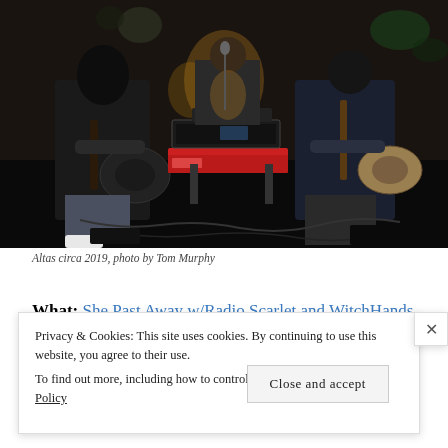[Figure (photo): Band performing on a dark stage. Left: guitarist with long dark hair playing electric guitar. Center: keyboard player at synthesizer setup with stage lights behind. Right: another guitarist. Red Nord keyboard visible. Stage floor cluttered with cables and equipment.]
Altas circa 2019, photo by Tom Murphy
What: She Past Away w/Radio Scarlet and WitchHands
Privacy & Cookies: This site uses cookies. By continuing to use this website, you agree to their use.
To find out more, including how to control cookies, see here: Cookie Policy